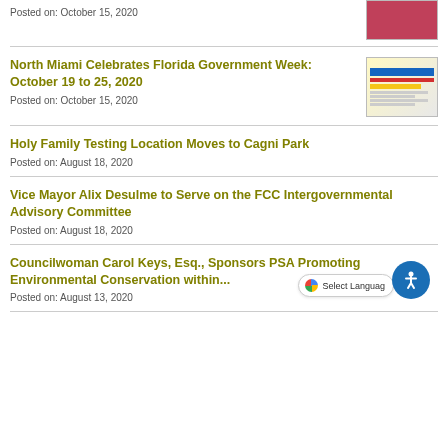Posted on: October 15, 2020
North Miami Celebrates Florida Government Week: October 19 to 25, 2020
Posted on: October 15, 2020
Holy Family Testing Location Moves to Cagni Park
Posted on: August 18, 2020
Vice Mayor Alix Desulme to Serve on the FCC Intergovernmental Advisory Committee
Posted on: August 18, 2020
Councilwoman Carol Keys, Esq., Sponsors PSA Promoting Environmental Conservation within...
Posted on: August 13, 2020